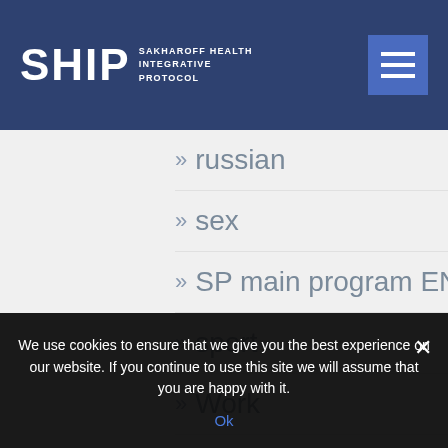SHIP SAKHAROFF HEALTH INTEGRATIVE PROTOCOL
» russian
» sex
» SP main program EN
» sport
» Work
» arbeide
We use cookies to ensure that we give you the best experience on our website. If you continue to use this site we will assume that you are happy with it.
Ok